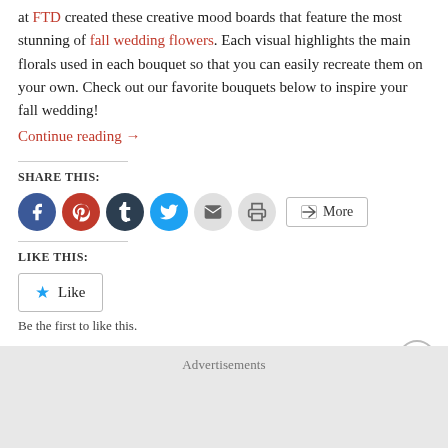at FTD created these creative mood boards that feature the most stunning of fall wedding flowers. Each visual highlights the main florals used in each bouquet so that you can easily recreate them on your own. Check out our favorite bouquets below to inspire your fall wedding!
Continue reading →
SHARE THIS:
[Figure (infographic): Social share buttons: Facebook (blue), Pinterest (red), Tumblr (dark), Twitter (cyan), Email (grey), Print (grey), More button]
LIKE THIS:
[Figure (infographic): Like button with star icon]
Be the first to like this.
Advertisements